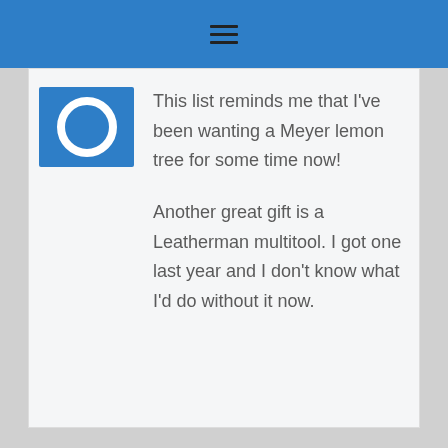≡
[Figure (logo): Blue square avatar with white circular ring icon]
This list reminds me that I've been wanting a Meyer lemon tree for some time now!
Another great gift is a Leatherman multitool. I got one last year and I don't know what I'd do without it now.